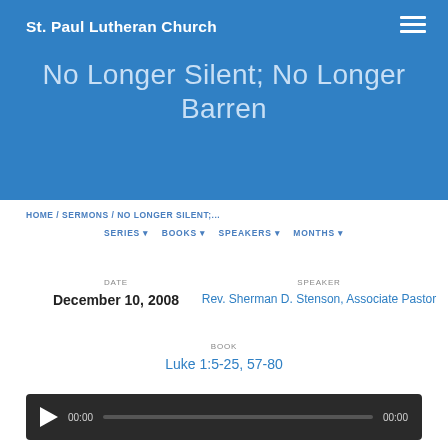St. Paul Lutheran Church
No Longer Silent; No Longer Barren
HOME / SERMONS / NO LONGER SILENT;...
SERIES ▾  BOOKS ▾  SPEAKERS ▾  MONTHS ▾
DATE
December 10, 2008
SPEAKER
Rev. Sherman D. Stenson, Associate Pastor
BOOK
Luke 1:5-25, 57-80
[Figure (other): Audio player bar with play button, progress bar showing 00:00 / 00:00]